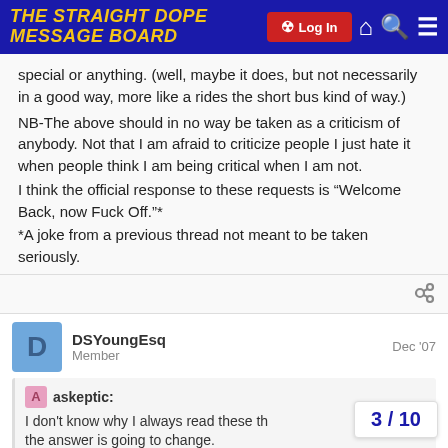The Straight Dope Message Board
special or anything. (well, maybe it does, but not necessarily in a good way, more like a rides the short bus kind of way.)
NB-The above should in no way be taken as a criticism of anybody. Not that I am afraid to criticize people I just hate it when people think I am being critical when I am not.
I think the official response to these requests is "Welcome Back, now Fuck Off."*
*A joke from a previous thread not meant to be taken seriously.
DSYoungEsq — Member — Dec '07
askeptic:
I don't know why I always read these th... the answer is going to change.
3 / 10